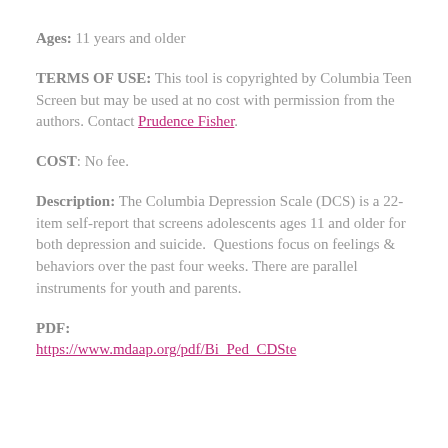Ages: 11 years and older
TERMS OF USE: This tool is copyrighted by Columbia Teen Screen but may be used at no cost with permission from the authors. Contact Prudence Fisher.
COST: No fee.
Description: The Columbia Depression Scale (DCS) is a 22-item self-report that screens adolescents ages 11 and older for both depression and suicide.  Questions focus on feelings & behaviors over the past four weeks. There are parallel instruments for youth and parents.
PDF: https://www.mdaap.org/pdf/Bi_Ped_CDSte